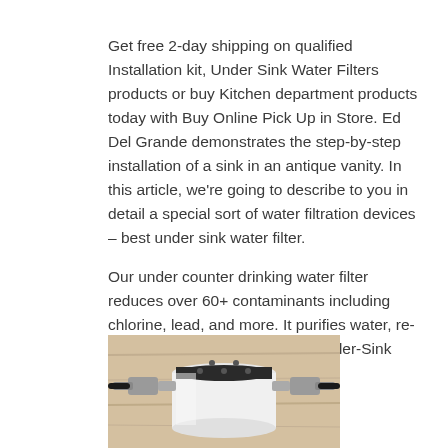Get free 2-day shipping on qualified Installation kit, Under Sink Water Filters products or buy Kitchen department products today with Buy Online Pick Up in Store. Ed Del Grande demonstrates the step-by-step installation of a sink in an antique vanity. In this article, we're going to describe to you in detail a special sort of water filtration devices – best under sink water filter.
Our under counter drinking water filter reduces over 60+ contaminants including chlorine, lead, and more. It purifies water, re-mineralizes it and unlike with. Under-Sink Water Filtration Installation Share.
[Figure (photo): Photo of an under-sink water filter device mounted on a wooden surface, showing a white cylindrical filter unit with metal fittings and tubes on either side, viewed from above]